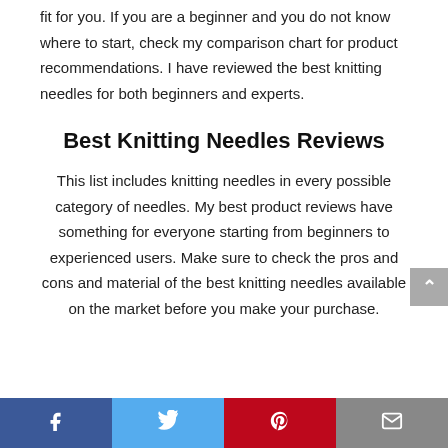fit for you. If you are a beginner and you do not know where to start, check my comparison chart for product recommendations. I have reviewed the best knitting needles for both beginners and experts.
Best Knitting Needles Reviews
This list includes knitting needles in every possible category of needles. My best product reviews have something for everyone starting from beginners to experienced users. Make sure to check the pros and cons and material of the best knitting needles available on the market before you make your purchase.